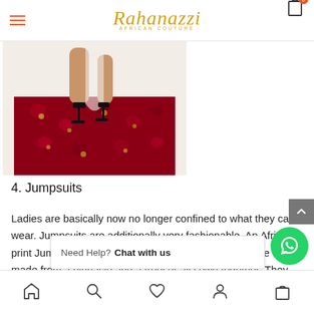Rahanazzi AFRICAN COUTURE
[Figure (photo): Lower half of a woman wearing a red African print floral dress/jumpsuit with black heeled sandals, photographed against a light background.]
4. Jumpsuits
Ladies are basically now no longer confined to what they can wear. Jumpsuits are additionally very fashionable. An African print Jumpsuit does the magic. A jumpsuit is a complete outfit made from a pinnacle and a trouser all sewn together. They come in a range of shapes and sizes. This depends upon on the p...e
Home | Search | Wishlist | Account | Bag